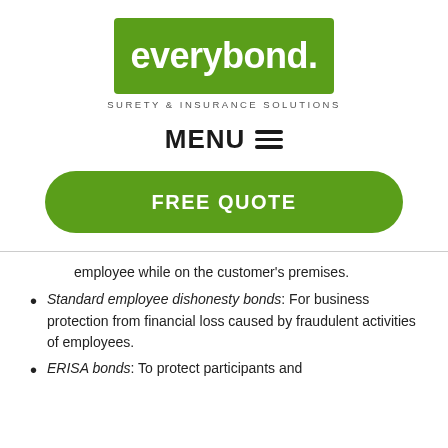[Figure (logo): everybond. logo — white text on green rounded rectangle background]
SURETY & INSURANCE SOLUTIONS
MENU ☰
FREE QUOTE
employee while on the customer's premises.
Standard employee dishonesty bonds: For business protection from financial loss caused by fraudulent activities of employees.
ERISA bonds: To protect participants and beneficiaries of pension plans, including 401(k)...